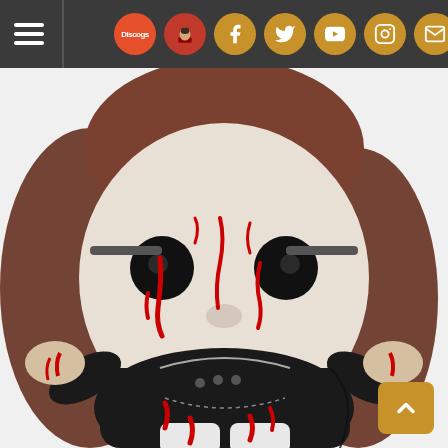Navigation bar with hamburger menu, Discogs icon, blog icon, Facebook, Twitter, YouTube, Instagram, and email icons
[Figure (photo): Funko Pop vinyl figure of Ozzy Osbourne with bloody face paint, brown hair, black star-decorated shirt, white pants with red blood splatter, making rock-on hand gestures with both hands]